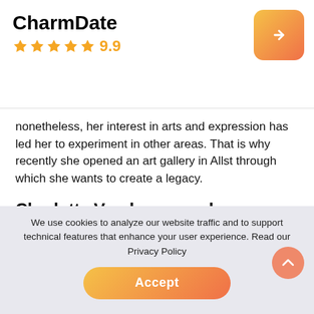CharmDate ★★★★★ 9.9
nonetheless, her interest in arts and expression has led her to experiment in other areas. That is why recently she opened an art gallery in Allst through which she wants to create a legacy.
Charlotte Vandermeersch
[Figure (photo): Portrait photo of Charlotte Vandermeersch, a blond woman looking upward, warm bokeh background with lights]
We use cookies to analyze our website traffic and to support technical features that enhance your user experience. Read our Privacy Policy
Accept